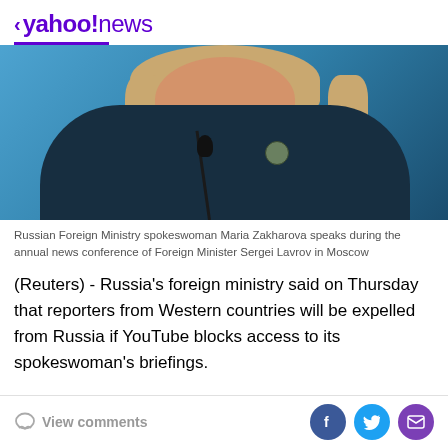< yahoo!news
[Figure (photo): Russian Foreign Ministry spokeswoman Maria Zakharova speaking at a podium with a microphone, wearing a dark navy jacket and necklace, with a blue background.]
Russian Foreign Ministry spokeswoman Maria Zakharova speaks during the annual news conference of Foreign Minister Sergei Lavrov in Moscow
(Reuters) - Russia's foreign ministry said on Thursday that reporters from Western countries will be expelled from Russia if YouTube blocks access to its spokeswoman's briefings.
View comments